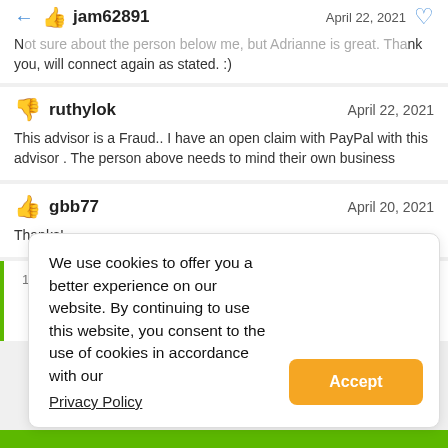jam62891 — April 22, 2021 — Not sure about the person below me, but Adrianne is great. Thank you, will connect again as stated. :)
ruthylok — April 22, 2021 — This advisor is a Fraud.. I have an open claim with PayPal with this advisor . The person above needs to mind their own business
gbb77 — April 20, 2021 — Thanks!
We use cookies to offer you a better experience on our website. By continuing to use this website, you consent to the use of cookies in accordance with our Privacy Policy